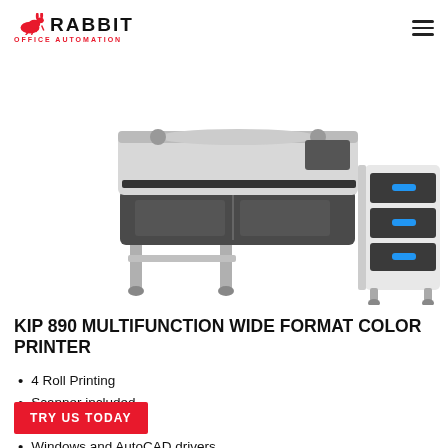RABBIT OFFICE AUTOMATION
[Figure (photo): KIP 890 wide format multifunction color printer with a file cabinet/stacker accessory on a white background. The printer is light gray and dark gray with a roll-feed top section and the stacker has blue handle accents on dark drawers.]
KIP 890 MULTIFUNCTION WIDE FORMAT COLOR PRINTER
4 Roll Printing
Scanner included
10" Touch Screen
Windows and AutoCAD drivers